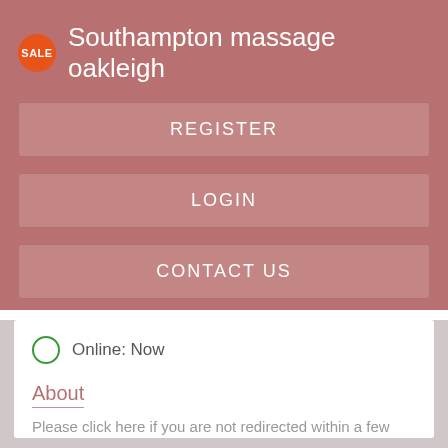Southampton massage oakleigh
REGISTER
LOGIN
CONTACT US
Online: Now
About
Please click here if you are not redirected within a few